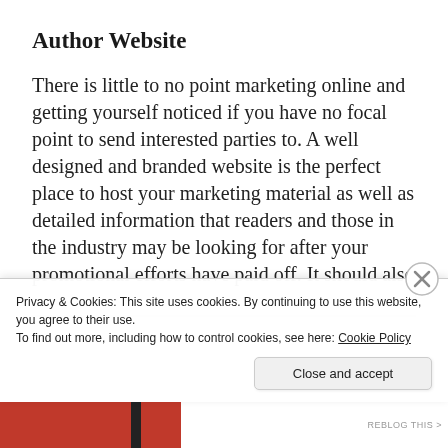Author Website
There is little to no point marketing online and getting yourself noticed if you have no focal point to send interested parties to. A well designed and branded website is the perfect place to host your marketing material as well as detailed information that readers and those in the industry may be looking for after your promotional efforts have paid off. It should also include your contact page so that future
Privacy & Cookies: This site uses cookies. By continuing to use this website, you agree to their use.
To find out more, including how to control cookies, see here: Cookie Policy
Close and accept